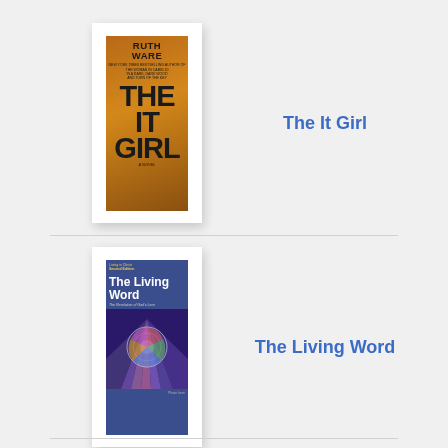[Figure (illustration): Book cover of 'The It Girl' by Ruth Ware — dark orange/brown background with large bold black text showing author name and title]
The It Girl
[Figure (illustration): Book cover of 'The Living Word' — blue background with white bold title text and stained glass window image at the bottom]
The Living Word